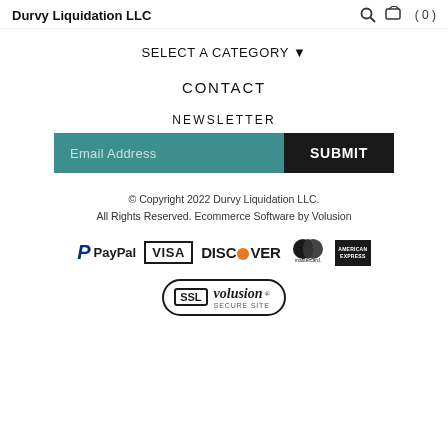Durvy Liquidation LLC
SELECT A CATEGORY ▾
CONTACT
NEWSLETTER
Email Address | SUBMIT
© Copyright 2022 Durvy Liquidation LLC. All Rights Reserved. Ecommerce Software by Volusion
[Figure (logo): Payment method logos: PayPal, VISA, DISCOVER, Mastercard, American Express]
[Figure (logo): SSL Volusion Secure Site badge]